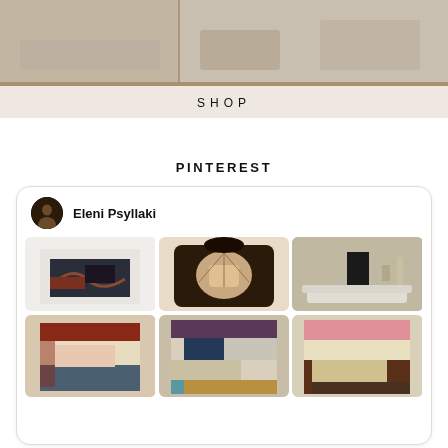[Figure (photo): Shop banner image with interior/furniture photo and 'SHOP' label]
PINTEREST
[Figure (screenshot): Pinterest profile card for Eleni Psyllaki showing avatar, name, and a grid of 6 art/decor pin images: abstract paintings, decorative frames, geometric color-block artworks]